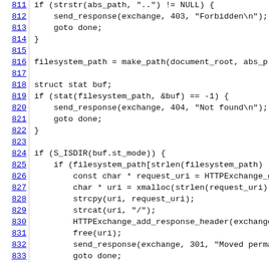Code listing lines 811-833, C source code showing HTTP server file serving logic